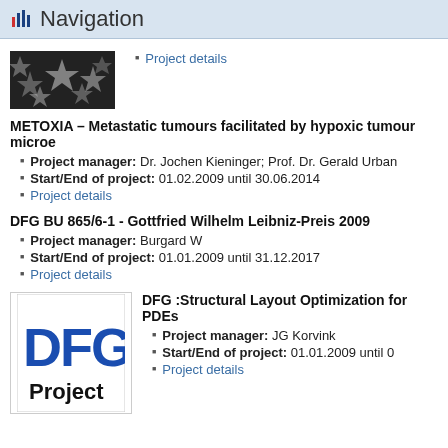Navigation
[Figure (photo): Grayscale image of star-shaped particles or structures]
Project details
METOXIA – Metastatic tumours facilitated by hypoxic tumour microenvironment
Project manager: Dr. Jochen Kieninger; Prof. Dr. Gerald Urban
Start/End of project: 01.02.2009 until 30.06.2014
Project details
DFG BU 865/6-1 - Gottfried Wilhelm Leibniz-Preis 2009
Project manager: Burgard W
Start/End of project: 01.01.2009 until 31.12.2017
Project details
[Figure (logo): DFG Project logo with blue DFG letters and black Project text]
DFG :Structural Layout Optimization for PDEs
Project manager: JG Korvink
Start/End of project: 01.01.2009 until ...
Project details